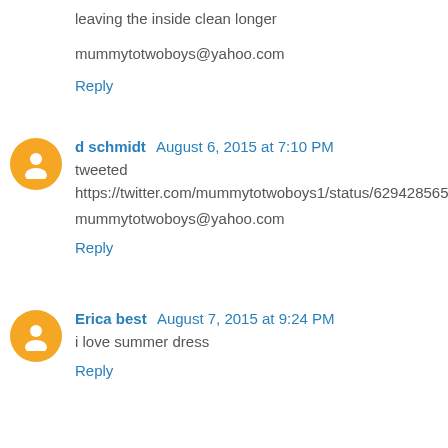leaving the inside clean longer
mummytotwoboys@yahoo.com
Reply
d schmidt  August 6, 2015 at 7:10 PM
tweeted https://twitter.com/mummytotwoboys1/status/629428565621256192
mummytotwoboys@yahoo.com
Reply
Erica best  August 7, 2015 at 9:24 PM
i love summer dress
Reply